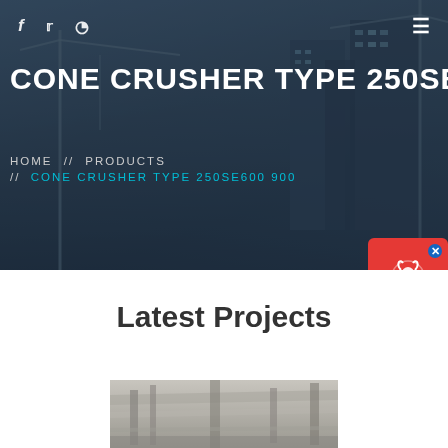[Figure (screenshot): Hero banner with construction site background (cranes and buildings at dusk), showing website header with social media icons, navigation menu icon, page title CONE CRUSHER TYPE 250SE600, and breadcrumb navigation HOME // PRODUCTS // CONE CRUSHER TYPE 250SE600 900. A chat widget is visible on the right side with a red headset icon and dark 'Chat Now' panel.]
Latest Projects
[Figure (photo): Partial view of industrial equipment or construction machinery interior with metal framework and structures visible.]